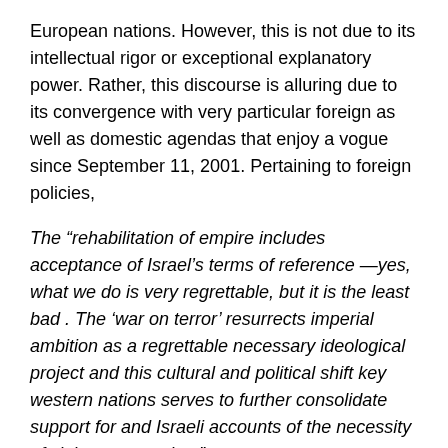European nations. However, this is not due to its intellectual rigor or exceptional explanatory power. Rather, this discourse is alluring due to its convergence with very particular foreign as well as domestic agendas that enjoy a vogue since September 11, 2001. Pertaining to foreign policies,
The “rehabilitation of empire includes acceptance of Israel’s terms of reference —yes, what we do is very regrettable, but it is the least bad . The ‘war on terror’ resurrects imperial ambition as a regrettable necessary ideological project and this cultural and political shift key western nations serves to further consolidate support for and Israeli accounts of the necessity of violent occupation.”
Israeli public discourse on the CoC likewise is equally